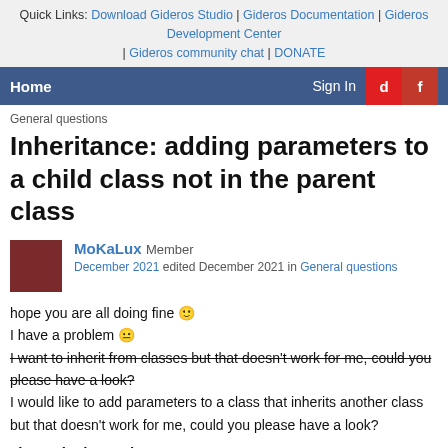Quick Links: Download Gideros Studio | Gideros Documentation | Gideros Development Center | Gideros community chat | DONATE
Home  Sign In
General questions
Inheritance: adding parameters to a child class not in the parent class
MoKaLux Member
December 2021  edited December 2021  in General questions
hope you are all doing fine 🙂
I have a problem 😐
I want to inherit from classes but that doesn't work for me, could you please have a look?
I would like to add parameters to a class that inherits another class but that doesn't work for me, could you please have a look?
I have the base class: